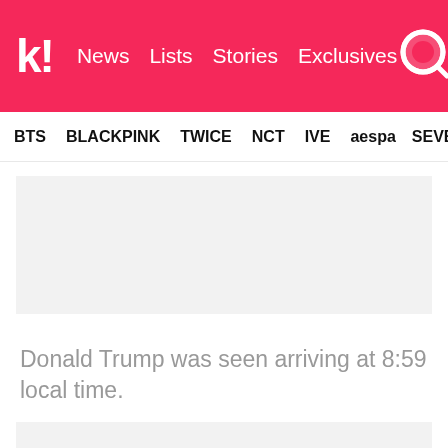k! News Lists Stories Exclusives
BTS BLACKPINK TWICE NCT IVE aespa SEVE
[Figure (photo): Gray placeholder image region (top)]
Donald Trump was seen arriving at 8:59 local time.
[Figure (photo): Gray placeholder image region (bottom)]